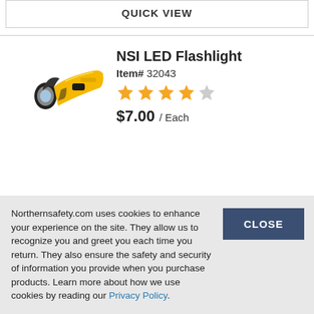QUICK VIEW
[Figure (photo): Yellow and black NSI LED flashlight product photo]
NSI LED Flashlight
Item# 32043
[Figure (other): 4 out of 5 star rating shown as yellow stars]
$7.00 / Each
Northernsafety.com uses cookies to enhance your experience on the site. They allow us to recognize you and greet you each time you return. They also ensure the safety and security of information you provide when you purchase products. Learn more about how we use cookies by reading our Privacy Policy.